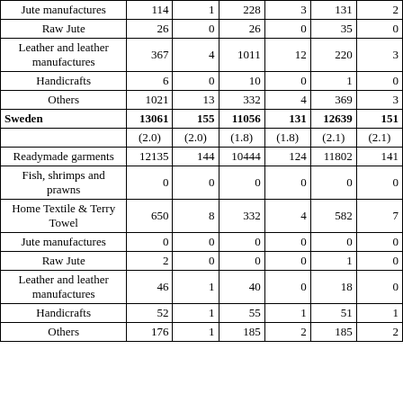| Jute manufactures | 114 | 1 | 228 | 3 | 131 | 2 |
| Raw Jute | 26 | 0 | 26 | 0 | 35 | 0 |
| Leather and leather manufactures | 367 | 4 | 1011 | 12 | 220 | 3 |
| Handicrafts | 6 | 0 | 10 | 0 | 1 | 0 |
| Others | 1021 | 13 | 332 | 4 | 369 | 3 |
| Sweden | 13061 | 155 | 11056 | 131 | 12639 | 151 |
|  | (2.0) | (2.0) | (1.8) | (1.8) | (2.1) | (2.1) |
| Readymade garments | 12135 | 144 | 10444 | 124 | 11802 | 141 |
| Fish, shrimps and prawns | 0 | 0 | 0 | 0 | 0 | 0 |
| Home Textile & Terry Towel | 650 | 8 | 332 | 4 | 582 | 7 |
| Jute manufactures | 0 | 0 | 0 | 0 | 0 | 0 |
| Raw Jute | 2 | 0 | 0 | 0 | 1 | 0 |
| Leather and leather manufactures | 46 | 1 | 40 | 0 | 18 | 0 |
| Handicrafts | 52 | 1 | 55 | 1 | 51 | 1 |
| Others | 176 | 1 | 185 | 2 | 185 | 2 |